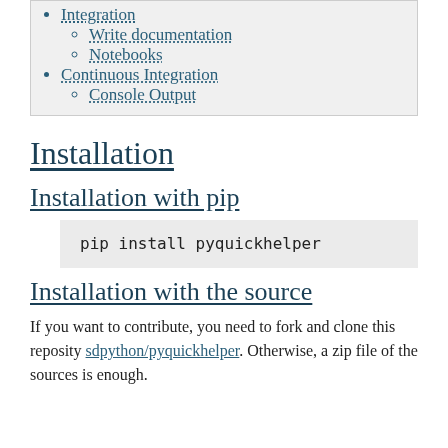Write documentation
Notebooks
Continuous Integration
Console Output
Installation
Installation with pip
pip install pyquickhelper
Installation with the source
If you want to contribute, you need to fork and clone this reposity sdpython/pyquickhelper. Otherwise, a zip file of the sources is enough.